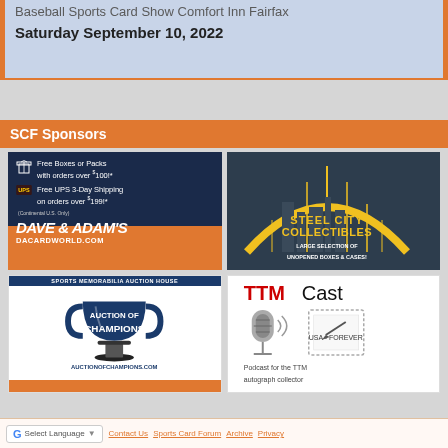Baseball Sports Card Show Comfort Inn Fairfax
Saturday September 10, 2022
SCF Sponsors
[Figure (illustration): Dave & Adam's Card World ad: dark blue and orange background, gift box icon with 'Free Boxes or Packs with orders over $100!*', UPS logo with 'Free UPS 3-Day Shipping on orders over $199!*', DAVE & ADAM'S in large italic white text, DACARDWORLD.COM]
[Figure (illustration): Steel City Collectibles ad: dark background with yellow arch bridge graphic, 'STEEL CITY COLLECTIBLES' in yellow text, 'LARGE SELECTION OF UNOPENED BOXES & CASES!']
[Figure (illustration): Auction of Champions ad: white background, 'Sports Memorabilia Auction House' banner, Auction of Champions logo with trophy, AUCTIONOFCHAMPIONS.COM]
[Figure (illustration): TTMCast ad: white background, TTMCast logo in red and black, microphone illustration, stamp graphic, 'USA - FOREVER', 'Podcast for the TTM autograph collector']
Contact Us  Sports Card Forum  Archive  Privacy